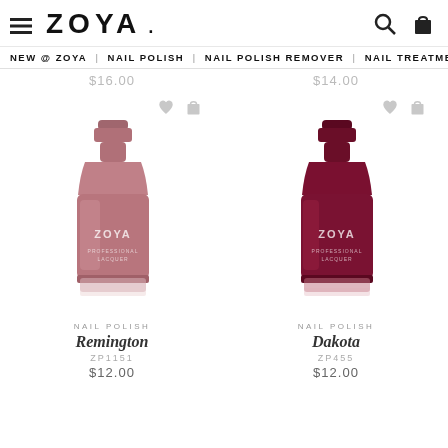≡ ZOYA
NEW @ ZOYA | NAIL POLISH | NAIL POLISH REMOVER | NAIL TREATMENTS | COSMETICS
$16.00   $14.00
[Figure (photo): Zoya nail polish bottle in dusty mauve/rose color, labeled Remington, Professional Lacquer]
NAIL POLISH
Remington
ZP1151
$12.00
[Figure (photo): Zoya nail polish bottle in deep burgundy/wine color, labeled Dakota, Professional Lacquer]
NAIL POLISH
Dakota
ZP455
$12.00